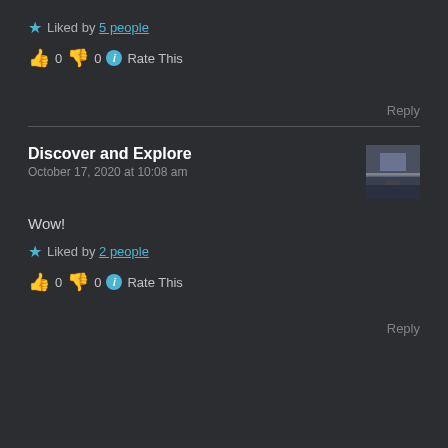★ Liked by 5 people
👍 0 👎 0 ℹ Rate This
Reply
Discover and Explore
October 17, 2020 at 10:08 am
Wow!
★ Liked by 2 people
👍 0 👎 0 ℹ Rate This
Reply